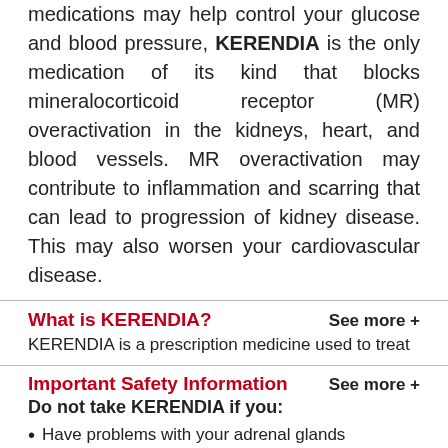medications may help control your glucose and blood pressure, KERENDIA is the only medication of its kind that blocks mineralocorticoid receptor (MR) overactivation in the kidneys, heart, and blood vessels. MR overactivation may contribute to inflammation and scarring that can lead to progression of kidney disease. This may also worsen your cardiovascular disease.
What is KERENDIA?
KERENDIA is a prescription medicine used to treat
Important Safety Information
Do not take KERENDIA if you:
Have problems with your adrenal glands
Take certain medications called CYP3A4 inhibitors. Ask your healthcare provider if you are